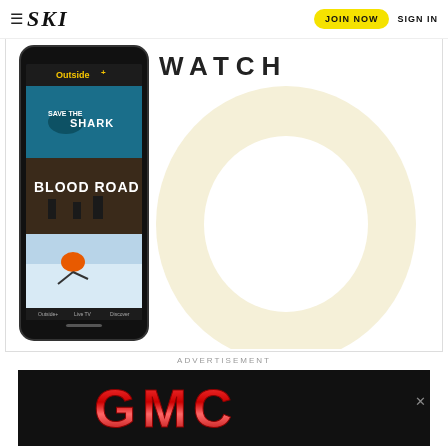≡ SKI  JOIN NOW  SIGN IN
[Figure (screenshot): Outside+ app promotion banner showing a smartphone with app interface displaying shows: Save the Shark, Blood Road, and a skiing video. Large WATCH text and Outside+ O logo on the right side on a cream/white background.]
ADVERTISEMENT
[Figure (logo): GMC logo advertisement banner on black background with red metallic GMC lettering. Has a close X button on the right.]